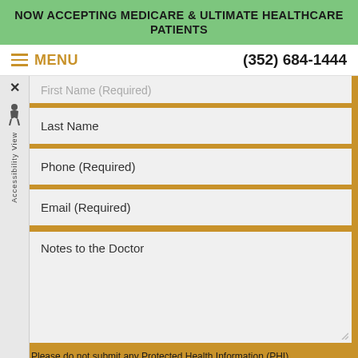NOW ACCEPTING MEDICARE & ULTIMATE HEALTHCARE PATIENTS
≡ MENU    (352) 684-1444
First Name (Required)
Last Name
Phone (Required)
Email (Required)
Notes to the Doctor
Please do not submit any Protected Health Information (PHI).
SUBMIT